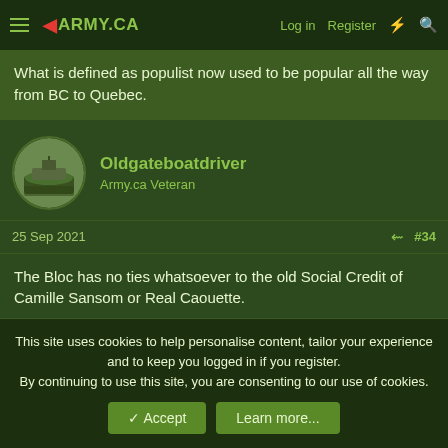Army.ca — Log in | Register
What is defined as populist now used to be popular all the way from BC to Quebec.
Oldgateboatdriver
Army.ca Veteran
25 Sep 2021  #34
The Bloc has no ties whatsoever to the old Social Credit of Camille Sansom or Real Caouette.
It was born from the Quebec wing of the Progressive Conservative Party (and that wing was always on the more centrist/progressive side of the Party) after the rejection of the
This site uses cookies to help personalise content, tailor your experience and to keep you logged in if you register.
By continuing to use this site, you are consenting to our use of cookies.